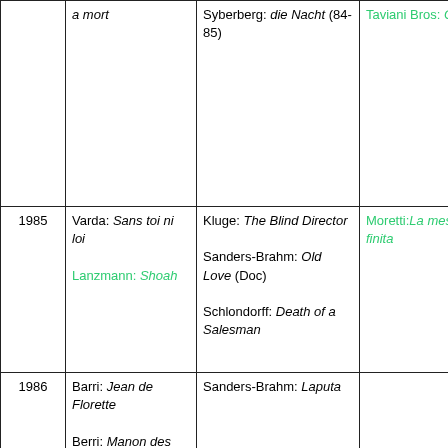| Year | Col2 | Col3 | Col4 | Col5 |
| --- | --- | --- | --- | --- |
|  | a mort | Syberberg: die Nacht (84-85) | Taviani Bros: Chaos |  |
| 1985 | Varda: Sans toi ni loi

Lanzmann: Shoah | Kluge: The Blind Director

Sanders-Brahm: Old Love (Doc)

Schlondorff: Death of a Salesman | Moretti: La messa e finita |  |
| 1986 | Barri: Jean de Florette

Berri: Manon des sources

Resnais: Melo | Sanders-Brahm: Laputa |  |  |
| 1987 |  | Herzog: Cobra Verde | Olmi: Long Life to the Lady! | Mi Da |